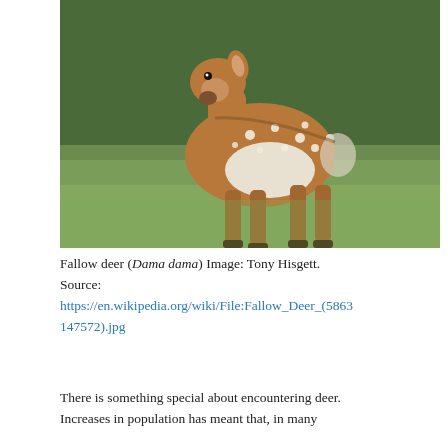[Figure (photo): A fallow deer (Dama dama) standing on green grass, brown coat with white spots, looking toward the camera. Photo by Tony Hisgett.]
Fallow deer (Dama dama) Image: Tony Hisgett. Source: https://en.wikipedia.org/wiki/File:Fallow_Deer_(586347572).jpg
There is something special about encountering deer. Increases in population has meant that, in many